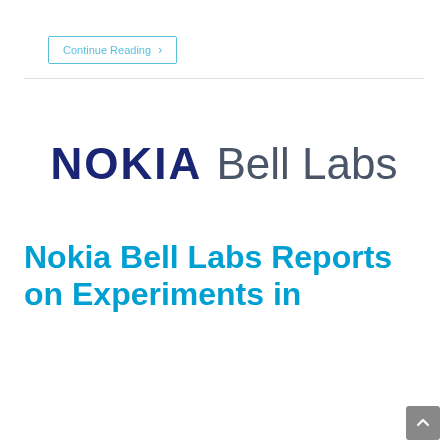Continue Reading ›
[Figure (logo): Nokia Bell Labs logo with 'NOKIA' in dark navy bold uppercase and 'Bell Labs' in gray regular weight]
Nokia Bell Labs Reports on Experiments in